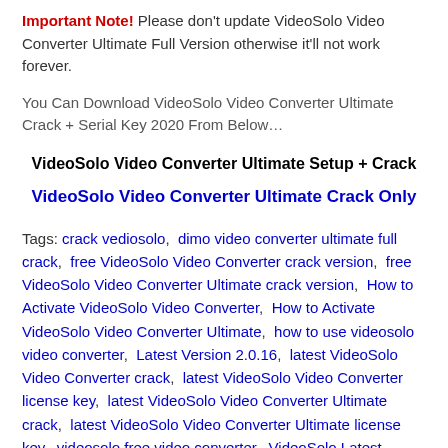Important Note! Please don't update VideoSolo Video Converter Ultimate Full Version otherwise it'll not work forever.
You Can Download VideoSolo Video Converter Ultimate Crack + Serial Key 2020 From Below…
VideoSolo Video Converter Ultimate Setup + Crack
VideoSolo Video Converter Ultimate Crack Only
Tags: crack vediosolo, dimo video converter ultimate full crack, free VideoSolo Video Converter crack version, free VideoSolo Video Converter Ultimate crack version, How to Activate VideoSolo Video Converter, How to Activate VideoSolo Video Converter Ultimate, how to use videosolo video converter, Latest Version 2.0.16, latest VideoSolo Video Converter crack, latest VideoSolo Video Converter license key, latest VideoSolo Video Converter Ultimate crack, latest VideoSolo Video Converter Ultimate license key, videosolo free video converter, VideoSolo Latest...